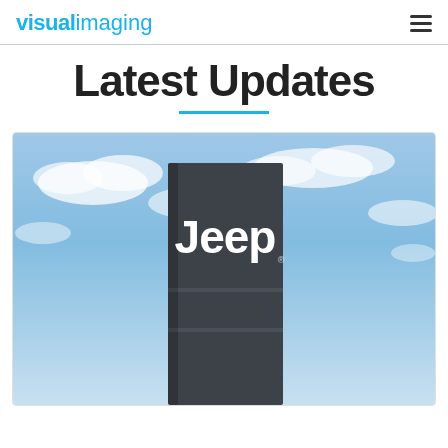VISUALimaging
Latest Updates
[Figure (photo): A tall dark grey Jeep dealer signage tower with white 'Jeep' lettering against a partly cloudy blue sky background.]